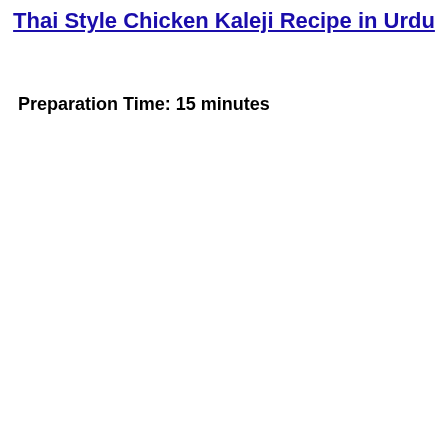Thai Style Chicken Kaleji Recipe in Urdu
Preparation Time: 15 minutes